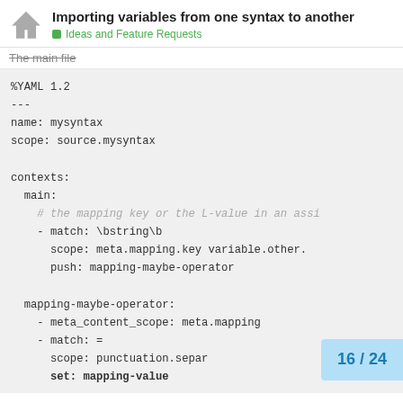Importing variables from one syntax to another
Ideas and Feature Requests
The main file
[Figure (screenshot): Code block showing YAML syntax definition with contexts, main, and mapping-maybe-operator sections]
16 / 24